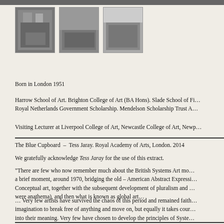[Figure (photo): Top photo strip, partially visible]
[Figure (photo): Three black-and-white thumbnail photographs of groups of people]
Born in London 1951
Harrow School of Art. Brighton College of Art (BA Hons). Slade School of Fi… Royal Netherlands Government Scholarship. Mendelson Scholarship Trust A…
Visiting Lecturer at Liverpool College of Art, Newcastle College of Art, Newp…
The Blue Cupboard  –  Tess Jaray. Royal Academy of Arts, London. 2014
We gratefully acknowledge Tess Jaray for the use of this extract.
“There are few who now remember much about the British Systems Art mo… a brief moment, around 1970, bridging the old – American Abstract Expressi… Conceptual art, together with the subsequent development of pluralism and … were anathema), and then what is known as global art…
… Very few artists have survived the chaos of this period and remained faith… imagination to break free of anything and move on, but equally it takes cour… into their meaning. Very few have chosen to develop the principles of Syste… rest and look deeper into the possibilities suggested, perhaps only hinted at… possibly, simultaneously, a more universal – set of values. Richard Plank ha…